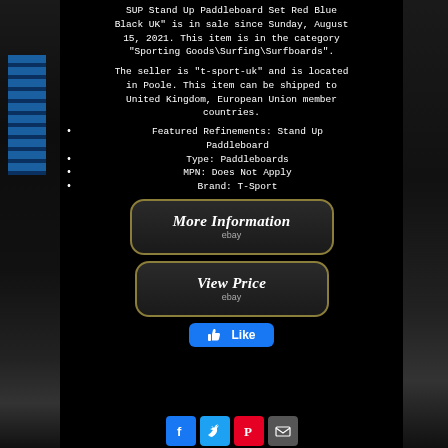SUP Stand Up Paddleboard Set Red Blue Black UK" is in sale since Sunday, August 15, 2021. This item is in the category "Sporting Goods\Surfing\Surfboards".
The seller is "t-sport-uk" and is located in Poole. This item can be shipped to United Kingdom, European Union member countries.
Featured Refinements: Stand Up Paddleboard
Type: Paddleboards
MPN: Does Not Apply
Brand: T-Sport
[Figure (screenshot): More Information button with eBay logo on dark background with gold border]
[Figure (screenshot): View Price button with eBay logo on dark background with gold border]
[Figure (screenshot): Facebook Like button]
[Figure (screenshot): Social media sharing icons: Facebook, Twitter, Pinterest, Email]